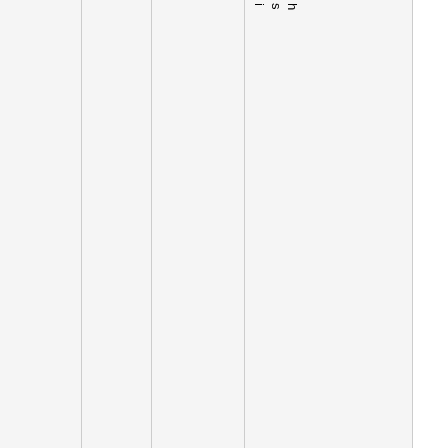|  |  | Filename |  | Size | Ver. | Date | Author |
| --- | --- | --- | --- | --- | --- | --- | --- |
|  |  | ant.pdf
ViewDownload |  |  | v.1 | Ju | Aarish |
| ☐ | PDF | Whats_going_on.pdf
Vie... |  | 112k | v.1 | Ju | AaronDalgleish |